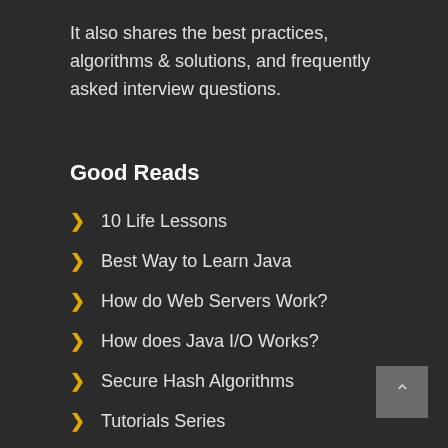It also shares the best practices, algorithms & solutions, and frequently asked interview questions.
Good Reads
10 Life Lessons
Best Way to Learn Java
How do Web Servers Work?
How does Java I/O Works?
Secure Hash Algorithms
Tutorials Series